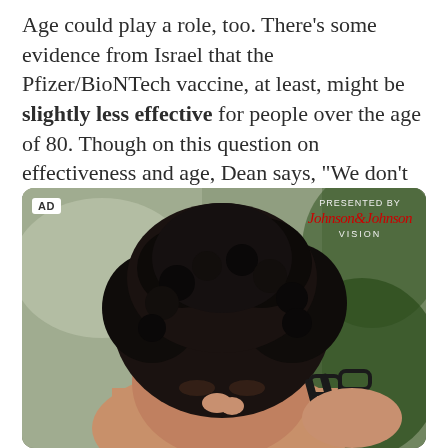Age could play a role, too. There's some evidence from Israel that the Pfizer/BioNTech vaccine, at least, might be slightly less effective for people over the age of 80. Though on this question on effectiveness and age, Dean says, “We don’t have a ton of data.”
[Figure (photo): Advertisement photo showing a person with curly dark hair rubbing their eyes/nose bridge while holding glasses, with 'AD' label and 'Presented by Johnson & Johnson Vision' overlay in the top right]